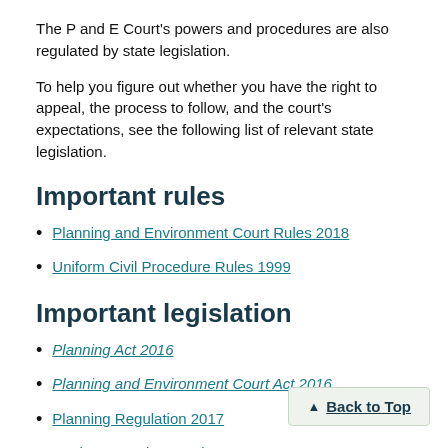The P and E Court's powers and procedures are also regulated by state legislation.
To help you figure out whether you have the right to appeal, the process to follow, and the court's expectations, see the following list of relevant state legislation.
Important rules
Planning and Environment Court Rules 2018
Uniform Civil Procedure Rules 1999
Important legislation
Planning Act 2016
Planning and Environment Court Act 2016
Planning Regulation 2017
Environmental Protection Act 1994
Uniform Civil Procedure (Fees) Regulation 2009